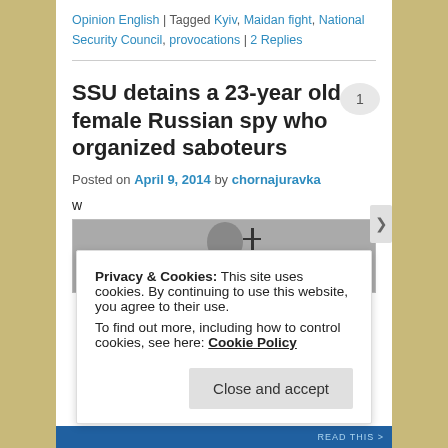Opinion English | Tagged Kyiv, Maidan fight, National Security Council, provocations | 2 Replies
SSU detains a 23-year old female Russian spy who organized saboteurs
Posted on April 9, 2014 by chornajuravka
w
[Figure (photo): Partial view of a person against a grey background, appears to be a press conference or official setting]
Privacy & Cookies: This site uses cookies. By continuing to use this website, you agree to their use. To find out more, including how to control cookies, see here: Cookie Policy